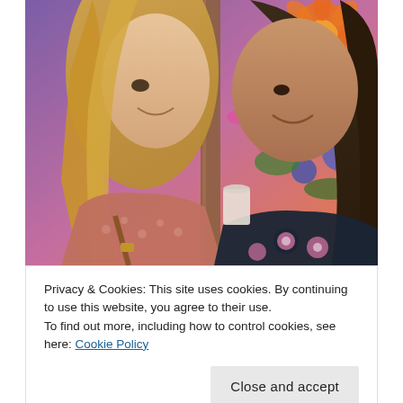[Figure (photo): Two smiling women in a shop setting. Left woman has long blonde hair wearing a pink patterned top with a leather bag. Right woman has long dark hair wearing a dark floral top. Colorful floral background behind them.]
Privacy & Cookies: This site uses cookies. By continuing to use this website, you agree to their use.
To find out more, including how to control cookies, see here: Cookie Policy
Close and accept